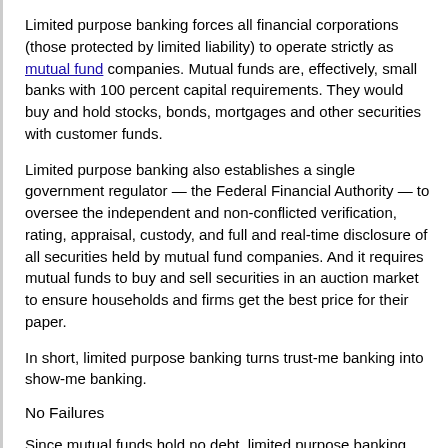Limited purpose banking forces all financial corporations (those protected by limited liability) to operate strictly as mutual fund companies. Mutual funds are, effectively, small banks with 100 percent capital requirements. They would buy and hold stocks, bonds, mortgages and other securities with customer funds.
Limited purpose banking also establishes a single government regulator — the Federal Financial Authority — to oversee the independent and non-conflicted verification, rating, appraisal, custody, and full and real-time disclosure of all securities held by mutual fund companies. And it requires mutual funds to buy and sell securities in an auction market to ensure households and firms get the best price for their paper.
In short, limited purpose banking turns trust-me banking into show-me banking.
No Failures
Since mutual funds hold no debt, limited purpose banking eliminates the possibility of bank failures, with their terrible economic costs. And the FFA would put an end to most financial fraud. Rating companies would work for the agency, not security owners.
Regulators, performing the FFA's limited tasks, would have no way to help future employers. Bribing politicians to do Wall Street's bidding would be a thing of the past. And boards of directors and chief executives could no longer steal from shareholders; they would be